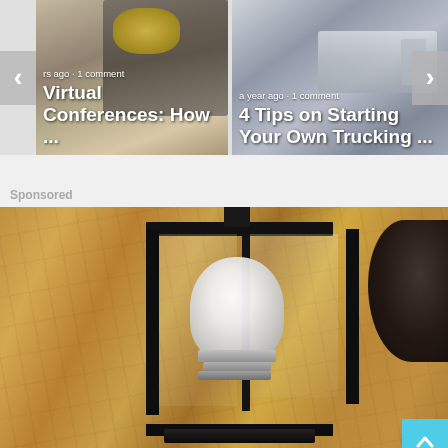[Figure (screenshot): Carousel card 1: Article thumbnail with person arranging flowers at a laptop, overlaid with text 'rs ago · 1 comment' and title 'Virtual Conferences: How ...']
[Figure (screenshot): Carousel card 2: Article thumbnail with truck image, overlaid with text 'a year ago · 1 comment' and title '4 Tips on Starting Your Own Trucking ...']
Sponsored
[Figure (photo): Sponsored advertisement image showing a vintage-style black lantern wall sconce mounted on a textured stucco wall, with a white light bulb visible inside the lantern frame.]